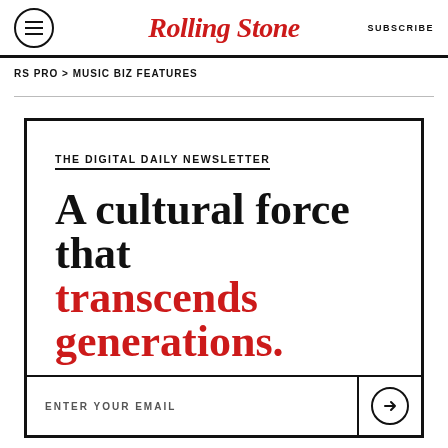Rolling Stone — SUBSCRIBE
RS PRO > MUSIC BIZ FEATURES
THE DIGITAL DAILY NEWSLETTER
A cultural force that transcends generations.
ENTER YOUR EMAIL